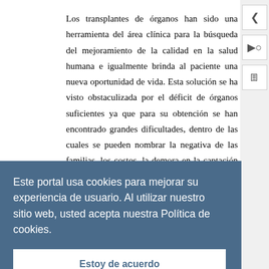Los transplantes de órganos han sido una herramienta del área clínica para la búsqueda del mejoramiento de la calidad en la salud humana e igualmente brinda al paciente una nueva oportunidad de vida. Esta solución se ha visto obstaculizada por el déficit de órganos suficientes ya que para su obtención se han encontrado grandes dificultades, dentro de las cuales se pueden nombrar la negativa de las familias, los costos, la demora en la captación del órgano, la falta de infraestructura logística que permita realizarlo en un tiempo ínfimo, las fallas en el transporte del órgano
Este portal usa cookies para mejorar su experiencia de usuario. Al utilizar nuestro sitio web, usted acepta nuestra Política de cookies.
Estoy de acuerdo
órganos de animales denominados xenogénicos que puedan suplir